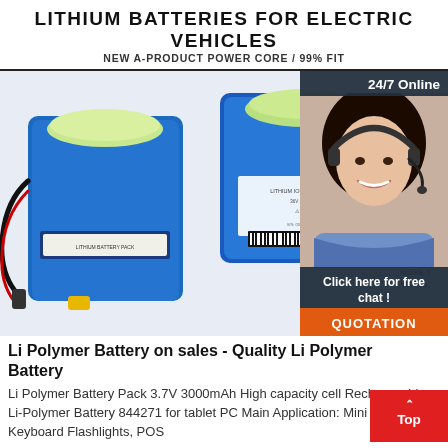LITHIUM BATTERIES FOR ELECTRIC VEHICLES
NEW A-PRODUCT POWER CORE / 99% FIT
[Figure (photo): Two blue lithium battery packs for electric vehicles with wires and connectors, alongside a 24/7 online customer service representative chat panel, a green 12-MONTH FACTORY badge, a dark overlay with 'Click here for free chat!' text, and an orange QUOTATION button.]
Li Polymer Battery on sales - Quality Li Polymer Battery
Li Polymer Battery Pack 3.7V 3000mAh High capacity cell Rechargeable Li-Polymer Battery 844271 for tablet PC Main Application: Mini Bluetooth Keyboard Flashlights, POS